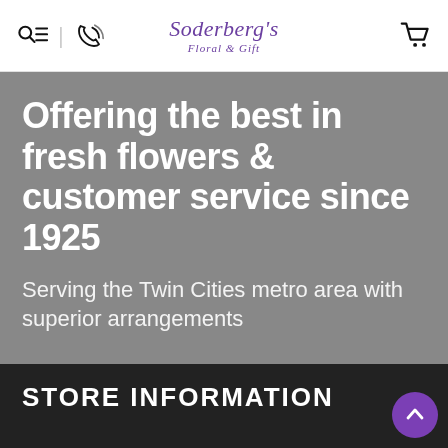Soderberg's Floral & Gift — navigation header with search, phone, and cart icons
Offering the best in fresh flowers & customer service since 1925
Serving the Twin Cities metro area with superior arrangements
STORE INFORMATION